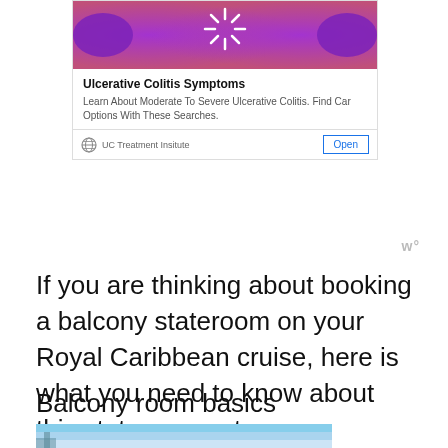[Figure (screenshot): Advertisement banner showing colorful purple and pink abstract image at top, with title 'Ulcerative Colitis Symptoms', description text, globe icon, 'UC Treatment Insitute' label, and 'Open' button]
If you are thinking about booking a balcony stateroom on your Royal Caribbean cruise, here is what you need to know about this stateroom category.
Balcony room basics
[Figure (photo): Partial photo at bottom of page showing blue sky and possibly a ship deck or balcony railing]